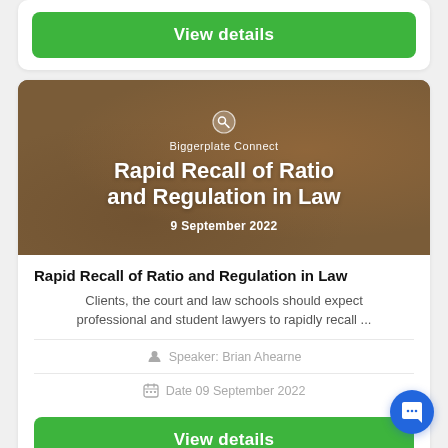View details
[Figure (photo): Hero banner image with gavel and law books background, overlaid with Biggerplate Connect branding, title 'Rapid Recall of Ratio and Regulation in Law', and date '9 September 2022']
Rapid Recall of Ratio and Regulation in Law
Clients, the court and law schools should expect professional and student lawyers to rapidly recall ...
Speaker: Brian Ahearne
Date 09 September 2022
View details